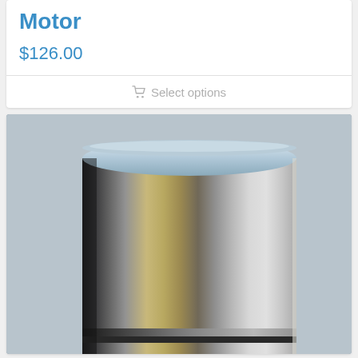Motor
$126.00
Select options
[Figure (photo): A polished stainless steel cylindrical ring or sleeve, photographed close-up against a light background, showing metallic reflections and gradient shading.]